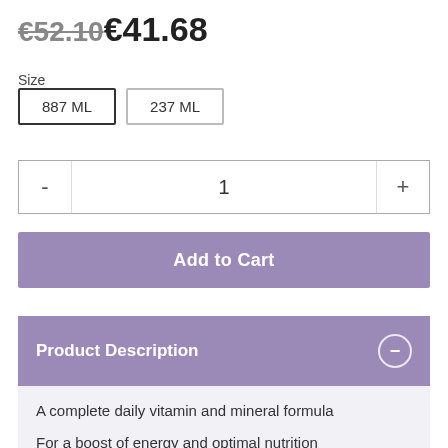€52.10€41.68
Size
887 ML   237 ML
- 1 +
Add to Cart
Product Description
A complete daily vitamin and mineral formula
For a boost of energy and optimal nutrition